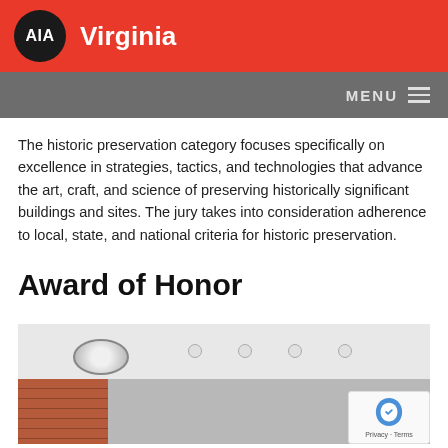AIA Virginia
MENU
The historic preservation category focuses specifically on excellence in strategies, tactics, and technologies that advance the art, craft, and science of preserving historically significant buildings and sites. The jury takes into consideration adherence to local, state, and national criteria for historic preservation.
Award of Honor
[Figure (photo): Interior photograph of a renovated historic building showing a ceiling with dome light fixture, recessed lighting, brick wall on the left, and an open modern interior space.]